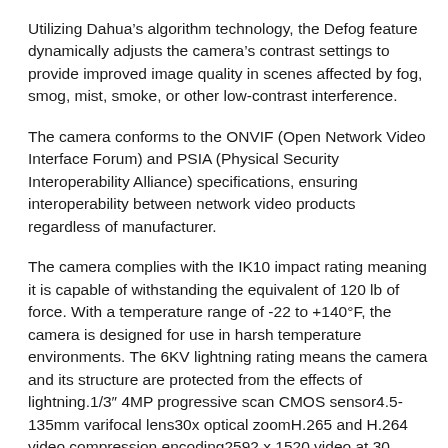Utilizing Dahua’s algorithm technology, the Defog feature dynamically adjusts the camera’s contrast settings to provide improved image quality in scenes affected by fog, smog, mist, smoke, or other low-contrast interference.
The camera conforms to the ONVIF (Open Network Video Interface Forum) and PSIA (Physical Security Interoperability Alliance) specifications, ensuring interoperability between network video products regardless of manufacturer.
The camera complies with the IK10 impact rating meaning it is capable of withstanding the equivalent of 120 lb of force. With a temperature range of -22 to +140°F, the camera is designed for use in harsh temperature environments. The 6KV lightning rating means the camera and its structure are protected from the effects of lightning.1/3″ 4MP progressive scan CMOS sensor4.5-135mm varifocal lens30x optical zoomH.265 and H.264 video compression encoding2592 x 1520 video at 30 fpsTrue Wide Dynamic RangeAuto-tracking and IVS (Intelligent Video System)IK10-rated vandal-resistant housingPoE+ supportMotion